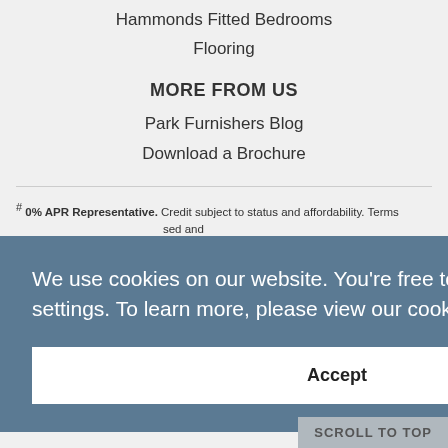Hammonds Fitted Bedrooms
Flooring
MORE FROM US
Park Furnishers Blog
Download a Brochure
# 0% APR Representative. Credit subject to status and affordability. Terms ... sed and VUNA ... ed and o. 704348.
We use cookies on our website. You're free to manage this in your browser settings. To learn more, please view our cookie policy page.  Learn more
Accept
SCROLL TO TOP